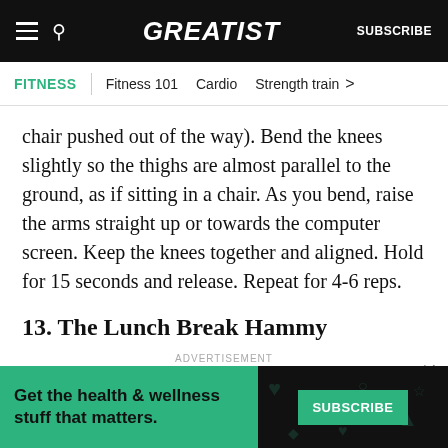GREATIST | SUBSCRIBE
FITNESS | Fitness 101 | Cardio | Strength train >
chair pushed out of the way). Bend the knees slightly so the thighs are almost parallel to the ground, as if sitting in a chair. As you bend, raise the arms straight up or towards the computer screen. Keep the knees together and aligned. Hold for 15 seconds and release. Repeat for 4-6 reps.
13. The Lunch Break Hammy
Strengthen the hamstrings with this standing leg
[Figure (screenshot): Advertisement banner: 'Get the health & wellness stuff that matters.' SUBSCRIBE button on dark background with decorative icons.]